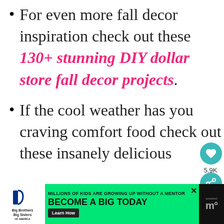For even more fall decor inspiration check out these 130+ stunning DIY dollar store fall decor projects.
If the cool weather has you craving comfort food check out these insanely delicious
[Figure (infographic): Social sharing widget with heart/like button showing 5.9K count and share button, teal circular icons on right side]
[Figure (infographic): Ad banner: Big Brothers Big Sisters. Millions of kids are growing up without a mentor. Become a Big Today. Learn How.]